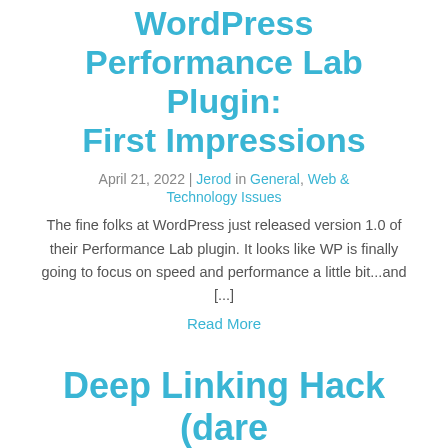WordPress Performance Lab Plugin: First Impressions
April 21, 2022 | Jerod in General, Web & Technology Issues
The fine folks at WordPress just released version 1.0 of their Performance Lab plugin. It looks like WP is finally going to focus on speed and performance a little bit...and [...]
Read More
Deep Linking Hack (dare I use that word) to Bring Users to the Content